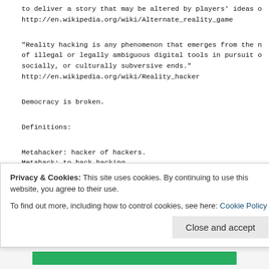to deliver a story that may be altered by players' ideas o
http://en.wikipedia.org/wiki/Alternate_reality_game
"Reality hacking is any phenomenon that emerges from the n
of illegal or legally ambiguous digital tools in pursuit o
socially, or culturally subversive ends."
http://en.wikipedia.org/wiki/Reality_hacker
Democracy is broken.
Definitions:
Metahacker: hacker of hackers.
Metahack: to hack hacking.
Metaverse: universe of universes.
Privacy & Cookies: This site uses cookies. By continuing to use this website, you agree to their use.
To find out more, including how to control cookies, see here: Cookie Policy
Close and accept